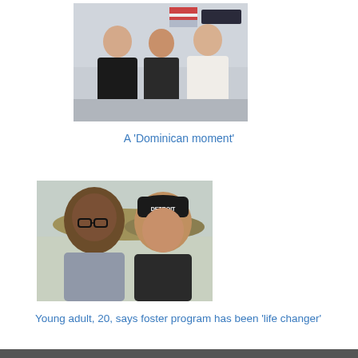[Figure (photo): Three people posing for a photo indoors. One person on the left wearing black clerical attire, a person in the middle in dark robes, and a person on the right in white religious habit. American flag visible in background.]
A 'Dominican moment'
[Figure (photo): Selfie photo of two people outdoors in winter. A young man with glasses on the left smiling, and a woman wearing a black DETROIT knit hat on the right, also smiling.]
Young adult, 20, says foster program has been 'life changer'